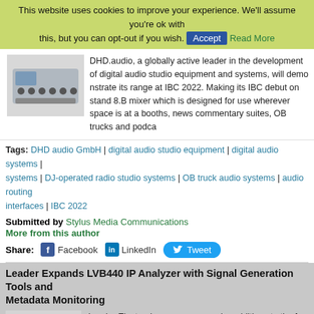This website uses cookies to improve your experience. We'll assume you're ok with this, but you can opt-out if you wish. Accept Read More
DHD.audio, a globally active leader in the development of digital audio studio equipment and systems, will demonstrate its range at IBC 2022. Making its IBC debut on stand 8.B... mixer which is designed for use wherever space is at a premium: booths, news commentary suites, OB trucks and podcasting...
[Figure (photo): Photo of DHD audio mixing console/equipment, silver and blue colored device]
Tags: DHD audio GmbH | digital audio studio equipment | digital audio systems | systems | DJ-operated radio studio systems | OB truck audio systems | audio routing interfaces | IBC 2022
Submitted by Stylus Media Communications
More from this author
Share: Facebook LinkedIn Tweet
Leader Expands LVB440 IP Analyzer with Signal Generation Tools and Metadata Monitoring
[Figure (photo): Photo of Leader LVB440 device, shows grey/white and dark panel sections]
Leader Electronics announces major additions to the instrument's IP traffic and signal monitoring resources tools plus the ability to monitor and analyze "SR Live from the expansion announced in Q4 2021 which added compression analysis, closed captioning measurement, co...
Leave a message